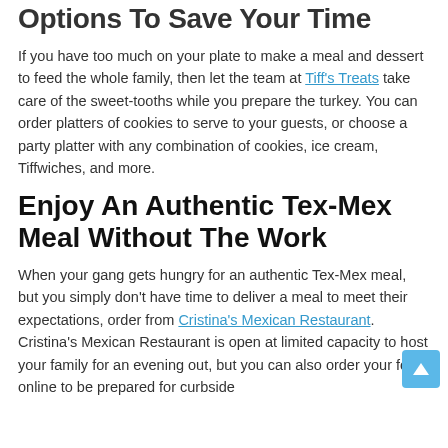Options To Save You Time
If you have too much on your plate to make a meal and dessert to feed the whole family, then let the team at Tiff's Treats take care of the sweet-tooths while you prepare the turkey. You can order platters of cookies to serve to your guests, or choose a party platter with any combination of cookies, ice cream, Tiffwiches, and more.
Enjoy An Authentic Tex-Mex Meal Without The Work
When your gang gets hungry for an authentic Tex-Mex meal, but you simply don't have time to deliver a meal to meet their expectations, order from Cristina's Mexican Restaurant. Cristina's Mexican Restaurant is open at limited capacity to host your family for an evening out, but you can also order your food online to be prepared for curbside